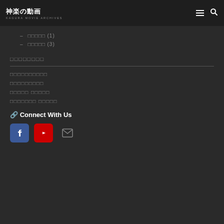神楽の動画 KAGURA MOVIE ARCHIVES
□□□□□ (1)
□□□□□ (3)
□□□□□□□□
□□□□□□□□□□
□□□□□□□□□
□□□□□ □□□□□
□□□□□□□ □□□□□
🔗 Connect With Us
[Figure (other): Social media icons: Facebook (blue), YouTube (red), Email (envelope)]